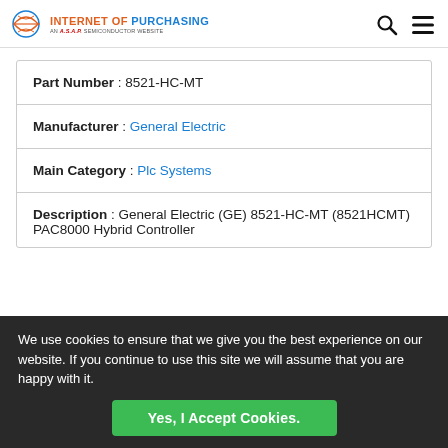INTERNET OF PURCHASING — AN A.S.A.P. SEMICONDUCTOR WEBSITE
| Part Number | 8521-HC-MT |
| Manufacturer | General Electric |
| Main Category | Plc Systems |
| Description | General Electric (GE) 8521-HC-MT (8521HCMT) PAC8000 Hybrid Controller |
We use cookies to ensure that we give you the best experience on our website. If you continue to use this site we will assume that you are happy with it.
Yes, I Accept Cookies.